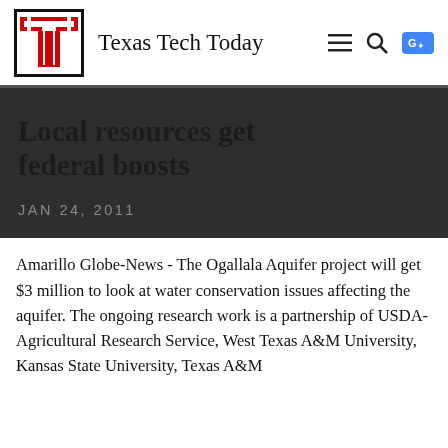Texas Tech Today
Local resources get federal boosts
JAN 24, 2011
Amarillo Globe-News - The Ogallala Aquifer project will get $3 million to look at water conservation issues affecting the aquifer. The ongoing research work is a partnership of USDA-Agricultural Research Service, West Texas A&M University, Kansas State University, Texas A&M